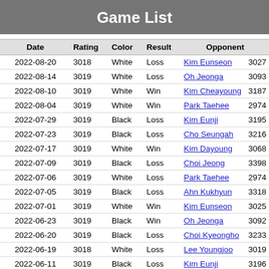Game List
| Date | Rating | Color | Result | Opponent |  |
| --- | --- | --- | --- | --- | --- |
| 2022-08-20 | 3018 | White | Loss | Kim Eunseon | 3027 |
| 2022-08-14 | 3019 | White | Loss | Oh Jeonga | 3093 |
| 2022-08-10 | 3019 | White | Win | Kim Cheayoung | 3187 |
| 2022-08-04 | 3019 | White | Win | Park Taehee | 2974 |
| 2022-07-29 | 3019 | Black | Loss | Kim Eunji | 3195 |
| 2022-07-23 | 3019 | Black | Loss | Cho Seungah | 3216 |
| 2022-07-17 | 3019 | White | Win | Kim Dayoung | 3068 |
| 2022-07-09 | 3019 | Black | Loss | Choi Jeong | 3398 |
| 2022-07-06 | 3019 | White | Loss | Park Taehee | 2974 |
| 2022-07-05 | 3019 | Black | Loss | Ahn Kukhyun | 3318 |
| 2022-07-01 | 3019 | White | Win | Kim Eunseon | 3025 |
| 2022-06-23 | 3019 | Black | Win | Oh Jeonga | 3092 |
| 2022-06-20 | 3019 | Black | Loss | Choi Kyeongho | 3233 |
| 2022-06-19 | 3018 | White | Loss | Lee Youngjoo | 3019 |
| 2022-06-11 | 3019 | Black | Loss | Kim Eunji | 3196 |
| 2022-06-09 | 3019 | Black | Win | Kim Minseo | 3018 |
| 2022-06-03 | 3019 | Black | Loss | Lee Minjin | 3044 |